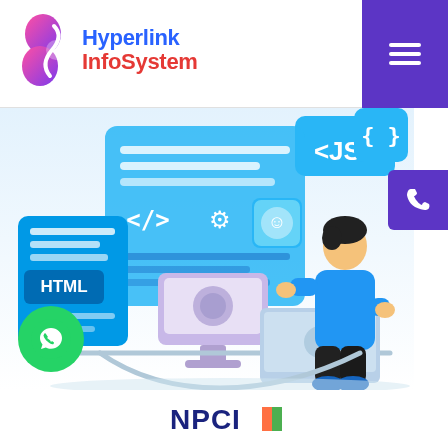[Figure (logo): Hyperlink InfoSystem logo with stylized S icon in pink/purple gradient, blue Hyperlink text, red InfoSystem text]
[Figure (illustration): Web developer standing at desk working on laptop with coding icons: HTML card, </> code tag, gear icon, smiley face, {JS} JavaScript tag, {} curly braces floating around]
[Figure (logo): NPCI logo with orange and green flag colors at bottom of page]
[Figure (infographic): Green WhatsApp button circle with phone handset icon, purple hamburger menu button top right, blue curly brace icon and purple phone FAB on right side]